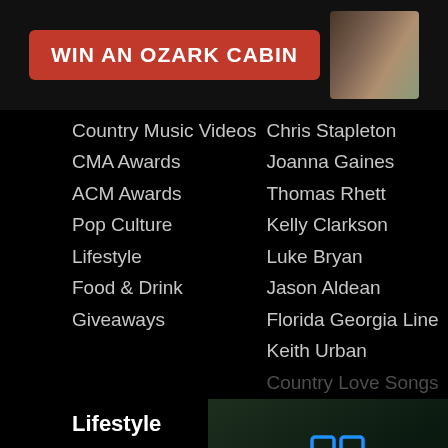[Figure (screenshot): Banner advertisement: WIN AN OZARK CABIN with red button and cabin photo]
Country Music Videos
Chris Stapleton
CMA Awards
Joanna Gaines
ACM Awards
Thomas Rhett
Pop Culture
Kelly Clarkson
Lifestyle
Luke Bryan
Food & Drink
Jason Aldean
Giveaways
Florida Georgia Line
Keith Urban
Country Love Songs
Lifestyle
Fashion
Beauty